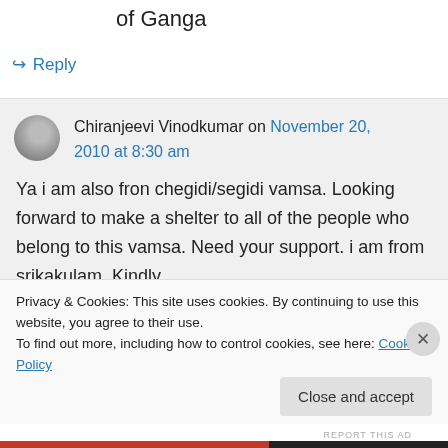of Ganga
↳ Reply
Chiranjeevi Vinodkumar on November 20, 2010 at 8:30 am
Ya i am also fron chegidi/segidi vamsa. Looking forward to make a shelter to all of the people who belong to this vamsa. Need your support. i am from srikakulam. Kindly
Privacy & Cookies: This site uses cookies. By continuing to use this website, you agree to their use.
To find out more, including how to control cookies, see here: Cookie Policy